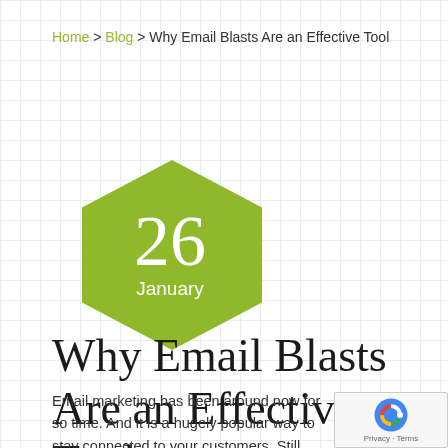Home > Blog > Why Email Blasts Are an Effective Tool
[Figure (illustration): Green hexagon shape with white text showing '26' in large numerals and 'January' below it]
Why Email Blasts Are an Effective Tool
Email marketing has been around now for some time. And it is a hugely popular way to stay connected to your customers.  Still, many